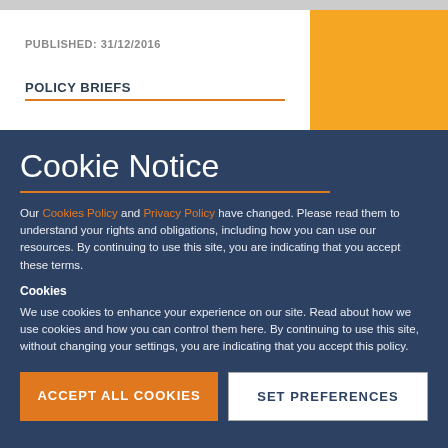PUBLISHED: 31/12/2016
POLICY BRIEFS
Cookie Notice
Our Cookies Policy and Privacy Policy have changed. Please read them to understand your rights and obligations, including how you can use our resources. By continuing to use this site, you are indicating that you accept these terms.
Cookies
We use cookies to enhance your experience on our site. Read about how we use cookies and how you can control them here. By continuing to use this site, without changing your settings, you are indicating that you accept this policy.
ACCEPT ALL COOKIES
SET PREFERENCES